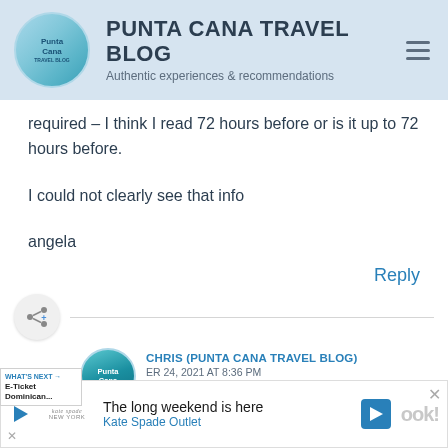PUNTA CANA TRAVEL BLOG - Authentic experiences & recommendations
required – I think I read 72 hours before or is it up to 72 hours before.
I could not clearly see that info
angela
Reply
CHRIS (PUNTA CANA TRAVEL BLOG)
ER 24, 2021 AT 8:36 PM
Hi Angela,
[Figure (screenshot): Advertisement banner: Kate Spade Outlet - The long weekend is here]
WHAT'S NEXT → E-Ticket Dominican...